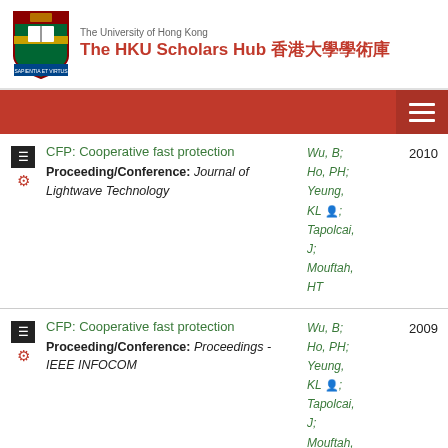The University of Hong Kong — The HKU Scholars Hub 香港大學學術庫
CFP: Cooperative fast protection | Proceeding/Conference: Journal of Lightwave Technology | Wu, B; Ho, PH; Yeung, KL; Tapolcai, J; Mouftah, HT | 2010
CFP: Cooperative fast protection | Proceeding/Conference: Proceedings - IEEE INFOCOM | Wu, B; Ho, PH; Yeung, KL; Tapolcai, J; Mouftah, HT | 2009